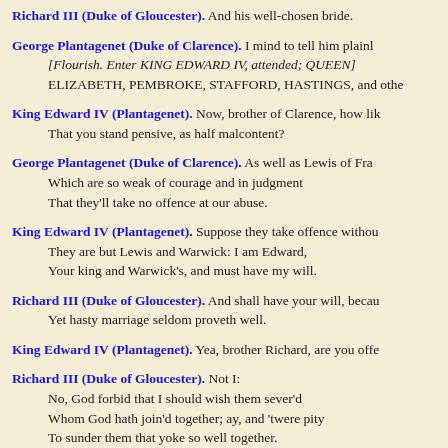Richard III (Duke of Gloucester). And his well-chosen bride.
George Plantagenet (Duke of Clarence). I mind to tell him plainly
[Flourish. Enter KING EDWARD IV, attended; QUEEN]
ELIZABETH, PEMBROKE, STAFFORD, HASTINGS, and othe
King Edward IV (Plantagenet). Now, brother of Clarence, how lik
That you stand pensive, as half malcontent?
George Plantagenet (Duke of Clarence). As well as Lewis of Fra
Which are so weak of courage and in judgment
That they'll take no offence at our abuse.
King Edward IV (Plantagenet). Suppose they take offence withou
They are but Lewis and Warwick: I am Edward,
Your king and Warwick's, and must have my will.
Richard III (Duke of Gloucester). And shall have your will, becau
Yet hasty marriage seldom proveth well.
King Edward IV (Plantagenet). Yea, brother Richard, are you offe
Richard III (Duke of Gloucester). Not I:
No, God forbid that I should wish them sever'd
Whom God hath join'd together; ay, and 'twere pity
To sunder them that yoke so well together.